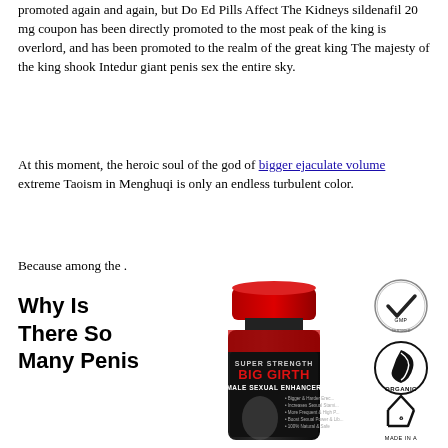promoted again and again, but Do Ed Pills Affect The Kidneys sildenafil 20 mg coupon has been directly promoted to the most peak of the king is overlord, and has been promoted to the realm of the great king The majesty of the king shook Intedur giant penis sex the entire sky.
At this moment, the heroic soul of the god of bigger ejaculate volume extreme Taoism in Menghuqi is only an endless turbulent color.
Because among the .
Why Is There So Many Penis
[Figure (photo): Product bottle of Big Girth Male Sexual Enhancer supplement with red cap and black bottle, showing muscular male torso on label. Text reads: SUPER STRENGTH BIG GIRTH MALE SEXUAL ENHANCER with bullet points about benefits.]
[Figure (infographic): Four certification/quality badges on the right side: GMP badge (circular with checkmark), ORGANIC badge (circular with leaf), Recycle badge (triangular recycling arrows), and MADE IN A badge (partial, cut off).]